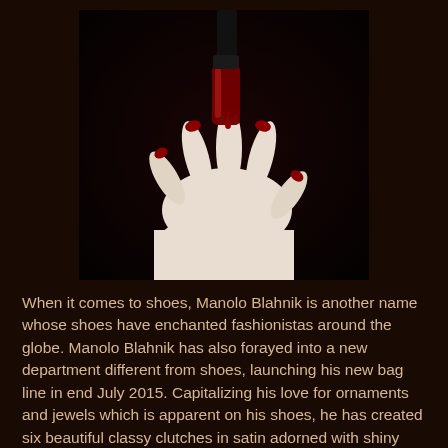[Figure (photo): A pale white hand with red painted nails held upward against a dark black background, with a red nail polish bottle suspended above it from which red lacquer drips toward the finger.]
When it comes to shoes, Manolo Blahnik is another name whose shoes have enchanted fashionistas around the globe. Manolo Blahnik has also forayed into a new department different from shoes, launching his new bag line in end July 2015. Capitalizing his love for ornaments and jewels which is apparent on his shoes, he has created six beautiful classy clutches in satin adorned with shiny embellishments. These are quite similar to some of the most popular Manolo Blahnik shoes, so paired together they would look gorgeous also. For this particular look, I have selected the new deep red Manolo Blahnik Okka clutch pictured nested in the artistic